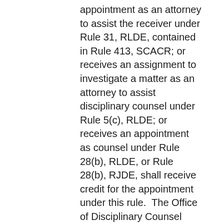appointment as an attorney to assist the receiver under Rule 31, RLDE, contained in Rule 413, SCACR; or receives an assignment to investigate a matter as an attorney to assist disciplinary counsel under Rule 5(c), RLDE; or receives an appointment as counsel under Rule 28(b), RLDE, or Rule 28(b), RJDE, shall receive credit for the appointment under this rule.  The Office of Disciplinary Counsel shall notify the appropriate clerk of court of the appointment, and the clerk shall mark the list to reflect the appointment.  If the member is relieved of this appointment before it is substantially completed, the Supreme Court or the Office of Disciplinary Counsel shall notify the clerk